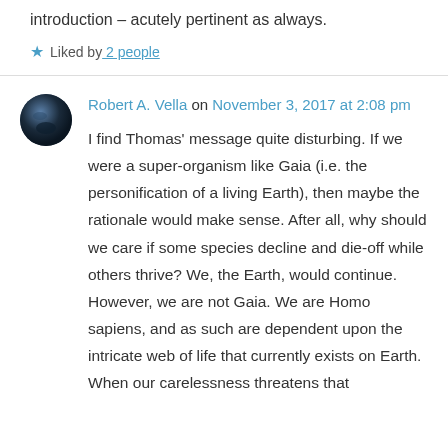introduction – acutely pertinent as always.
Liked by 2 people
Robert A. Vella on November 3, 2017 at 2:08 pm
I find Thomas' message quite disturbing. If we were a super-organism like Gaia (i.e. the personification of a living Earth), then maybe the rationale would make sense. After all, why should we care if some species decline and die-off while others thrive? We, the Earth, would continue. However, we are not Gaia. We are Homo sapiens, and as such are dependent upon the intricate web of life that currently exists on Earth. When our carelessness threatens that